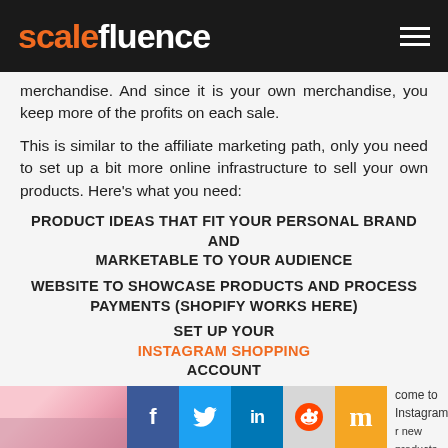scalefluence
merchandise. And since it is your own merchandise, you keep more of the profits on each sale.
This is similar to the affiliate marketing path, only you need to set up a bit more online infrastructure to sell your own products. Here’s what you need:
PRODUCT IDEAS THAT FIT YOUR PERSONAL BRAND AND MARKETABLE TO YOUR AUDIENCE
WEBSITE TO SHOWCASE PRODUCTS AND PROCESS PAYMENTS (SHOPIFY WORKS HERE)
SET UP YOUR INSTAGRAM SHOPPING ACCOUNT
[Figure (screenshot): Footer bar with a photo, social media buttons (Facebook, Twitter, LinkedIn, Reddit, Mixrank), and text 'come to Instagram new products.']